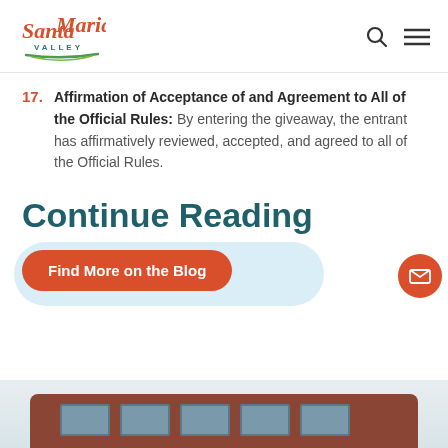[Figure (logo): Santa Maria Valley logo with cursive red text and teal VALLEY text below with green underline accent]
17. Affirmation of Acceptance of and Agreement to All of the Official Rules: By entering the giveaway, the entrant has affirmatively reviewed, accepted, and agreed to all of the Official Rules.
Continue Reading
[Figure (infographic): Light blue blob background with an orange rounded button labeled Find More on the Blog, and an orange circular email icon button at the lower right]
[Figure (photo): Bottom portion of a building or structure with dark reddish-brown roof curved shape and gray windows against a light sky]